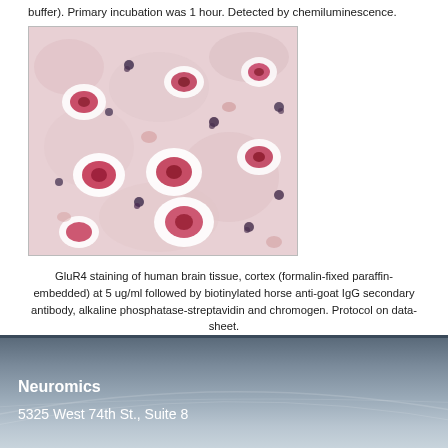buffer). Primary incubation was 1 hour. Detected by chemiluminescence.
[Figure (photo): Microscopy image of GluR4 staining of human brain tissue cortex, formalin-fixed paraffin-embedded, showing neurons stained pink/red with dark nuclei on a light pink background.]
GluR4 staining of human brain tissue, cortex (formalin-fixed paraffin-embedded) at 5 ug/ml followed by biotinylated horse anti-goat IgG secondary antibody, alkaline phosphatase-streptavidin and chromogen. Protocol on data-sheet.
Neuromics
5325 West 74th St., Suite 8